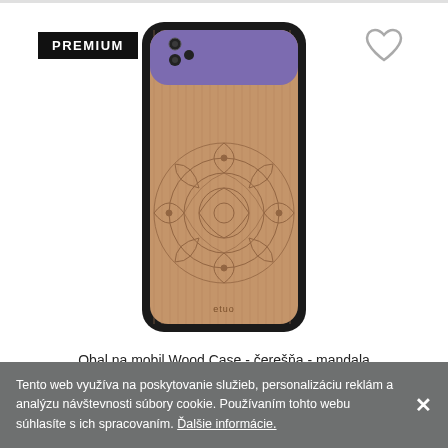[Figure (photo): Huawei phone with wood case featuring cherry wood texture and mandala laser engraving design, black bumper frame, etuo brand label at bottom. PREMIUM badge in black box top-left, heart/wishlist icon top-right.]
Obal na mobil Wood Case - čerešňa - mandala
Tento web využíva na poskytovanie služieb, personalizáciu reklám a analýzu návštevnosti súbory cookie. Používaním tohto webu súhlasíte s ich spracovaním. Ďalšie informácie.